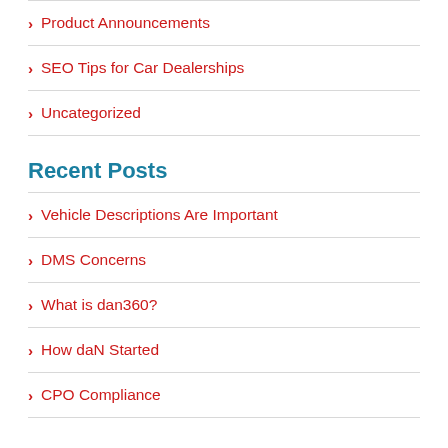> Product Announcements
> SEO Tips for Car Dealerships
> Uncategorized
Recent Posts
> Vehicle Descriptions Are Important
> DMS Concerns
> What is dan360?
> How daN Started
> CPO Compliance